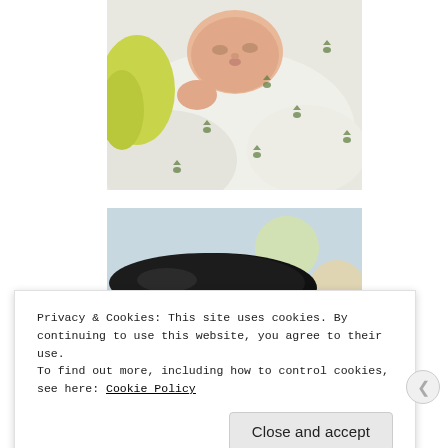[Figure (photo): Close-up photo of a newborn baby wrapped in a white blanket with small green bird/animal print pattern, wearing a yellow garment. Baby's face is visible in the upper portion.]
[Figure (photo): Partial photo of a baby with dark hair, partially covered by a blanket with colorful polka dots or circles. Only the top of the head is visible.]
Privacy & Cookies: This site uses cookies. By continuing to use this website, you agree to their use.
To find out more, including how to control cookies, see here: Cookie Policy
Close and accept